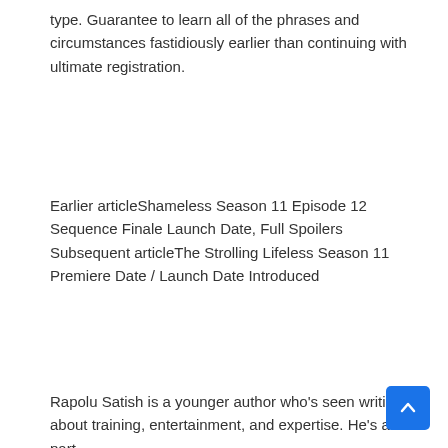type. Guarantee to learn all of the phrases and circumstances fastidiously earlier than continuing with ultimate registration.
Earlier articleShameless Season 11 Episode 12 Sequence Finale Launch Date, Full Spoilers
Subsequent articleThe Strolling Lifeless Season 11 Premiere Date / Launch Date Introduced
Rapolu Satish is a younger author who's seen writing about training, entertainment, and expertise. He's a part